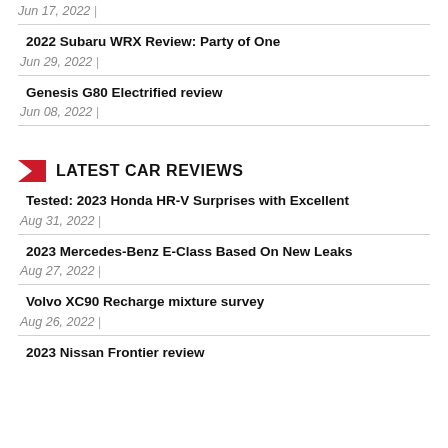Jun 17, 2022  |
2022 Subaru WRX Review: Party of One
Jun 29, 2022  |
Genesis G80 Electrified review
Jun 08, 2022  |
LATEST CAR REVIEWS
Tested: 2023 Honda HR-V Surprises with Excellent
Aug 31, 2022  |
2023 Mercedes-Benz E-Class Based On New Leaks
Aug 27, 2022  |
Volvo XC90 Recharge mixture survey
Aug 26, 2022  |
2023 Nissan Frontier review